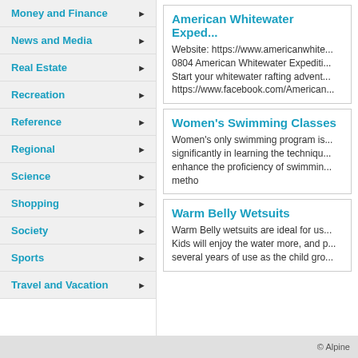Money and Finance
News and Media
Real Estate
Recreation
Reference
Regional
Science
Shopping
Society
Sports
Travel and Vacation
American Whitewater Exped...
Website: https://www.americanwhite... 0804 American Whitewater Expediti... Start your whitewater rafting advent... https://www.facebook.com/American...
Women's Swimming Classes
Women's only swimming program is... significantly in learning the techniqu... enhance the proficiency of swimmin... metho
Warm Belly Wetsuits
Warm Belly wetsuits are ideal for us... Kids will enjoy the water more, and p... several years of use as the child gro...
© Alpine